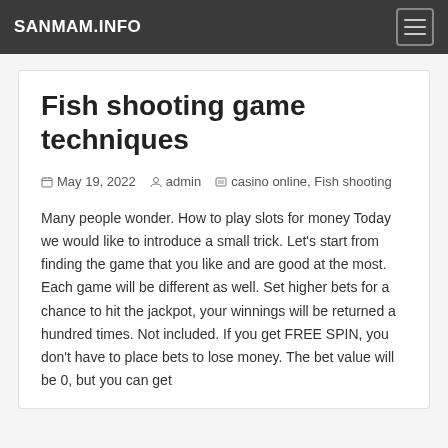SANMAM.INFO
Fish shooting game techniques
May 19, 2022   admin   casino online, Fish shooting
Many people wonder. How to play slots for money Today we would like to introduce a small trick. Let’s start from finding the game that you like and are good at the most. Each game will be different as well. Set higher bets for a chance to hit the jackpot, your winnings will be returned a hundred times. Not included. If you get FREE SPIN, you don’t have to place bets to lose money. The bet value will be 0, but you can get